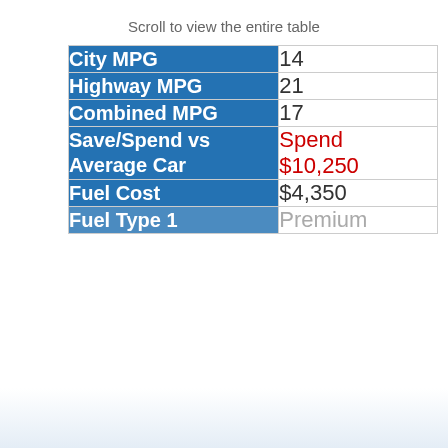Scroll to view the entire table
|  |  |
| --- | --- |
| City MPG | 14 |
| Highway MPG | 21 |
| Combined MPG | 17 |
| Save/Spend vs Average Car | Spend $10,250 |
| Fuel Cost | $4,350 |
| Fuel Type 1 | Premium |